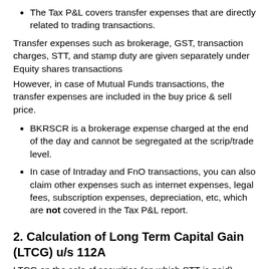The Tax P&L covers transfer expenses that are directly related to trading transactions.
Transfer expenses such as brokerage, GST, transaction charges, STT, and stamp duty are given separately under Equity shares transactions
However, in case of Mutual Funds transactions, the transfer expenses are included in the buy price & sell price.
BKRSCR is a brokerage expense charged at the end of the day and cannot be segregated at the scrip/trade level.
In case of Intraday and FnO transactions, you can also claim other expenses such as internet expenses, legal fees, subscription expenses, depreciation, etc, which are not covered in the Tax P&L report.
2. Calculation of Long Term Capital Gain (LTCG) u/s 112A
LTCG on the sale of securities (on which STT is paid) bought on or before 31 January 2018 should be